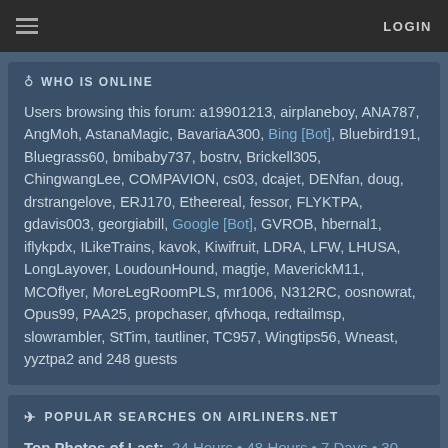LOGIN
WHO IS ONLINE
Users browsing this forum: a19901213, airplaneboy, ANA787, AngMoh, AstanaMagic, BavariaA300, Bing [Bot], Bluebird191, Bluegrass60, bmibaby737, bostrv, Brickell305, ChingwangLee, COMPAVION, cs03, dcajet, DENfan, doug, drstrangelove, ERJ170, Etheereal, fessor, FLYKTPA, gdavis003, georgiabill, Google [Bot], GVROB, hbernal1, iflykpdx, ILikeTrains, kavok, Kiwifruit, LDRA, LFW, LHUSA, LongLayover, LoudounHound, magtje, MaverickM11, MCOflyer, MoreLegRoomPLS, mr1006, N312RC, oosnowrat, Opus99, PAA25, propchaser, qfvhoqa, redtailmsp, slowrambler, StTim, tautliner, TC957, Wingtips56, Wneast, yyztpa2 and 248 guests
POPULAR SEARCHES ON AIRLINERS.NET
Top Photos of Last: 24 Hours • 48 Hours • 7 Days • 30 Days • 180 Days • 365 Days • All Time
Military Aircraft
Every type from fighters to helicopters from air forces around the globe